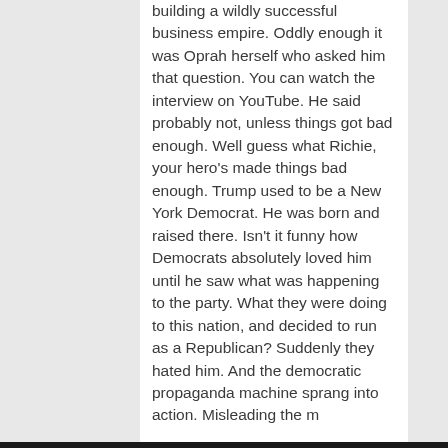building a wildly successful business empire. Oddly enough it was Oprah herself who asked him that question. You can watch the interview on YouTube. He said probably not, unless things got bad enough. Well guess what Richie, your hero's made things bad enough. Trump used to be a New York Democrat. He was born and raised there. Isn't it funny how Democrats absolutely loved him until he saw what was happening to the party. What they were doing to this nation, and decided to run as a Republican? Suddenly they hated him. And the democratic propaganda machine sprang into action. Misleading the media...